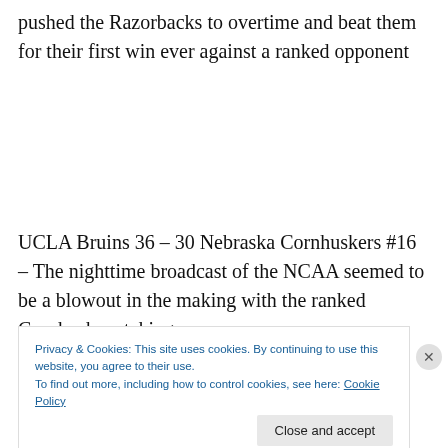pushed the Razorbacks to overtime and beat them for their first win ever against a ranked opponent
UCLA Bruins 36 – 30 Nebraska Cornhuskers #16 – The nighttime broadcast of the NCAA seemed to be a blowout in the making with the ranked Cornhuskers taking
Privacy & Cookies: This site uses cookies. By continuing to use this website, you agree to their use.
To find out more, including how to control cookies, see here: Cookie Policy